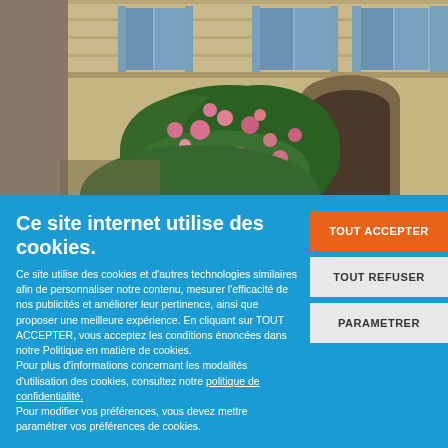[Figure (photo): Photograph of a French stone building facade with blue shutters and a flowering rose bush in front of an arched doorway]
Ce site internet utilise des cookies.
Ce site utilise des cookies et d'autres technologies similaires afin de personnaliser notre contenu, mesurer l'efficacité de nos publicités et améliorer leur pertinence, ainsi que proposer une meilleure expérience. En cliquant sur TOUT ACCEPTER, vous acceptez les conditions énoncées dans notre Politique en matière de cookies.
Pour plus d'informations concernant les modalités d'utilisation des cookies, consultez notre politique de confidentialité.
Pour modifier vos préférences, vous devez mettre paramétrer vos préférences de cookies.